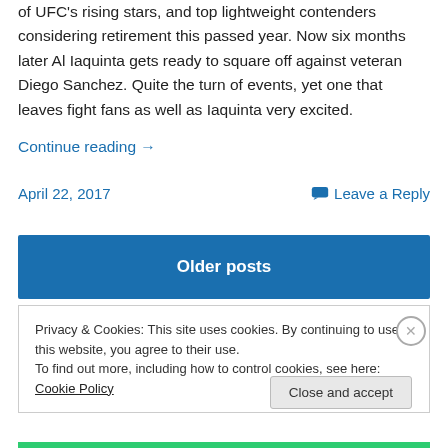of UFC's rising stars, and top lightweight contenders considering retirement this passed year. Now six months later Al Iaquinta gets ready to square off against veteran Diego Sanchez. Quite the turn of events, yet one that leaves fight fans as well as Iaquinta very excited.
Continue reading →
April 22, 2017
Leave a Reply
Older posts
Privacy & Cookies: This site uses cookies. By continuing to use this website, you agree to their use.
To find out more, including how to control cookies, see here: Cookie Policy
Close and accept